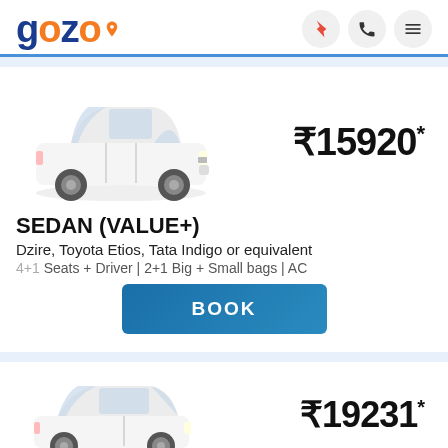[Figure (logo): gozo logo with location pin icon in blue and orange]
[Figure (photo): White Toyota Etios sedan car image]
₹15920*
SEDAN (VALUE+)
Dzire, Toyota Etios, Tata Indigo or equivalent
4+1 Seats + Driver | 2+1 Big + Small bags | AC
[Figure (other): BOOK button - teal/blue gradient]
[Figure (photo): White Tata Indigo car image (partial)]
₹19231*